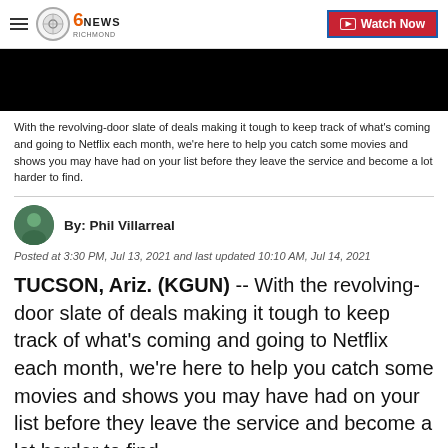6 NEWS Richmond | Watch Now
[Figure (screenshot): Black video player area]
With the revolving-door slate of deals making it tough to keep track of what's coming and going to Netflix each month, we're here to help you catch some movies and shows you may have had on your list before they leave the service and become a lot harder to find.
By: Phil Villarreal
Posted at 3:30 PM, Jul 13, 2021 and last updated 10:10 AM, Jul 14, 2021
TUCSON, Ariz. (KGUN) -- With the revolving-door slate of deals making it tough to keep track of what's coming and going to Netflix each month, we're here to help you catch some movies and shows you may have had on your list before they leave the service and become a lot harder to find.